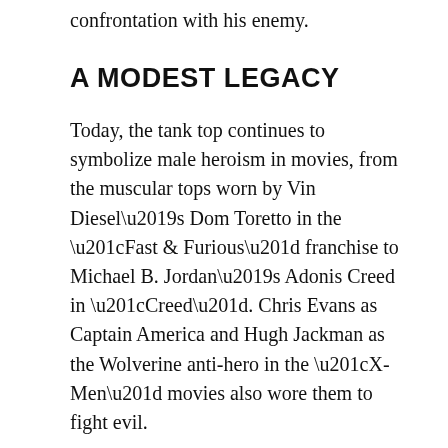confrontation with his enemy.
A MODEST LEGACY
Today, the tank top continues to symbolize male heroism in movies, from the muscular tops worn by Vin Diesel’s Dom Toretto in the “Fast & Furious” franchise to Michael B. Jordan’s Adonis Creed in “Creed”. Chris Evans as Captain America and Hugh Jackman as the Wolverine anti-hero in the “X-Men” movies also wore them to fight evil.
But as female protagonists entered the action hero space, the tank top came to represent the empowerment of women as well – in the late 1970s with “Alien” and later in “Terminator 2” and the “Tomb Raider” series. The characters in these films battle alien creatures, escape murderous robots, and explore ancient ruins, all dressed in basic attire. The tradition of longshoremen also continues through characters such as Charlize Theron’s Furiosa in